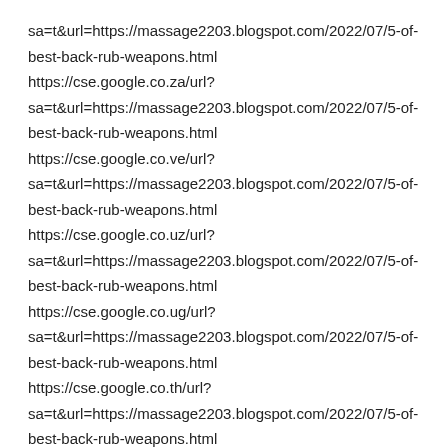sa=t&url=https://massage2203.blogspot.com/2022/07/5-of-best-back-rub-weapons.html
https://cse.google.co.za/url?sa=t&url=https://massage2203.blogspot.com/2022/07/5-of-best-back-rub-weapons.html
https://cse.google.co.ve/url?sa=t&url=https://massage2203.blogspot.com/2022/07/5-of-best-back-rub-weapons.html
https://cse.google.co.uz/url?sa=t&url=https://massage2203.blogspot.com/2022/07/5-of-best-back-rub-weapons.html
https://cse.google.co.ug/url?sa=t&url=https://massage2203.blogspot.com/2022/07/5-of-best-back-rub-weapons.html
https://cse.google.co.th/url?sa=t&url=https://massage2203.blogspot.com/2022/07/5-of-best-back-rub-weapons.html